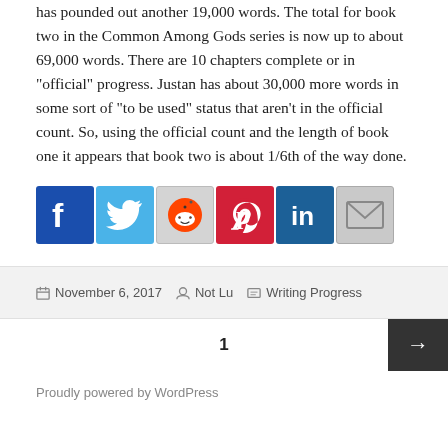has pounded out another 19,000 words. The total for book two in the Common Among Gods series is now up to about 69,000 words. There are 10 chapters complete or in “official” progress. Justan has about 30,000 more words in some sort of “to be used” status that aren’t in the official count. So, using the official count and the length of book one it appears that book two is about 1/6th of the way done.
[Figure (infographic): Row of 6 social media share buttons: Facebook, Twitter, Reddit, Pinterest, LinkedIn, Email]
November 6, 2017   Not Lu   Writing Progress
1
Proudly powered by WordPress